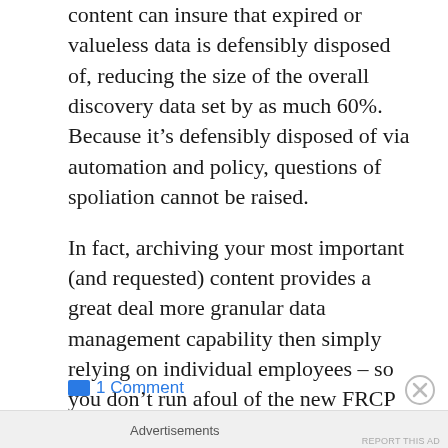content can insure that expired or valueless data is defensibly disposed of, reducing the size of the overall discovery data set by as much 60%. Because it’s defensibly disposed of via automation and policy, questions of spoliation cannot be raised.
In fact, archiving your most important (and requested) content provides a great deal more granular data management capability then simply relying on individual employees – so you don’t run afoul of the new FRCP Rule 37(e).
1 Comment
Advertisements